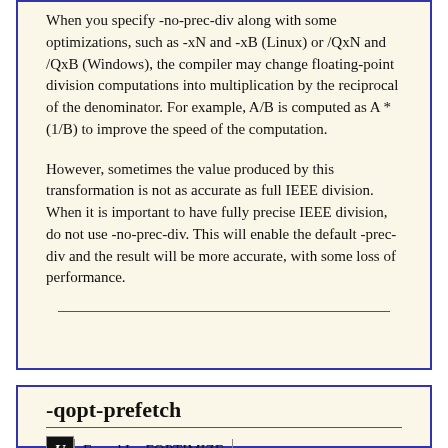When you specify -no-prec-div along with some optimizations, such as -xN and -xB (Linux) or /QxN and /QxB (Windows), the compiler may change floating-point division computations into multiplication by the reciprocal of the denominator. For example, A/B is computed as A * (1/B) to improve the speed of the computation.
However, sometimes the value produced by this transformation is not as accurate as full IEEE division. When it is important to have fully precise IEEE division, do not use -no-prec-div. This will enable the default -prec-div and the result will be more accurate, with some loss of performance.
-qopt-prefetch
Found In: FOPTIMIZE